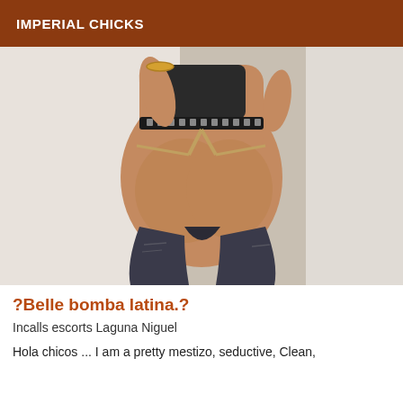IMPERIAL CHICKS
[Figure (photo): Photo of a woman from behind, wearing torn jeans and a dark top with a studded belt, posing against a white background.]
?Belle bomba latina.?
Incalls escorts Laguna Niguel
Hola chicos ... I am a pretty mestizo, seductive, Clean,